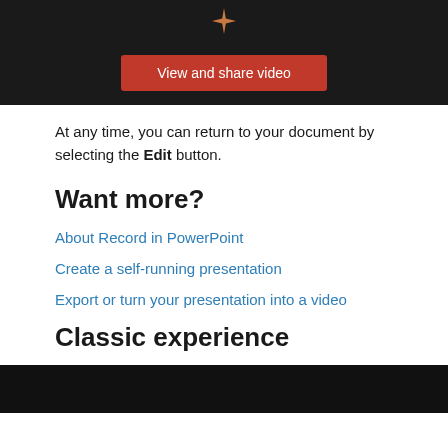[Figure (screenshot): Dark banner with orange star icon at top center and a red 'View and share video' button below it]
At any time, you can return to your document by selecting the Edit button.
Want more?
About Record in PowerPoint
Create a self-running presentation
Export or turn your presentation into a video
Classic experience
[Figure (screenshot): Dark/black banner at the bottom of the page]